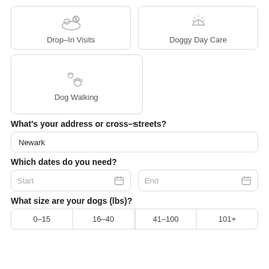[Figure (illustration): Drop-In Visits service card with icon of a sleeping pet and a pill/ball]
[Figure (illustration): Doggy Day Care service card with sun/horizon icon]
[Figure (illustration): Dog Walking service card with paw prints icon]
What's your address or cross-streets?
Newark
Which dates do you need?
Start
End
What size are your dogs (lbs)?
0–15
16–40
41–100
101+